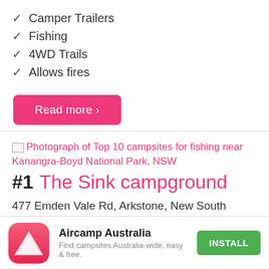✓ Camper Trailers
✓ Fishing
✓ 4WD Trails
✓ Allows fires
Read more ›
[Figure (photo): Broken image placeholder linking to: Photograph of Top 10 campsites for fishing near Kanangra-Boyd National Park, NSW]
#1 The Sink campground
477 Emden Vale Rd, Arkstone, New South Wales Get directions
[Figure (logo): Aircamp Australia app icon - pink/red gradient rounded square with white triangle tent symbol]
Aircamp Australia - Find campsites Australia-wide, easy & free. INSTALL